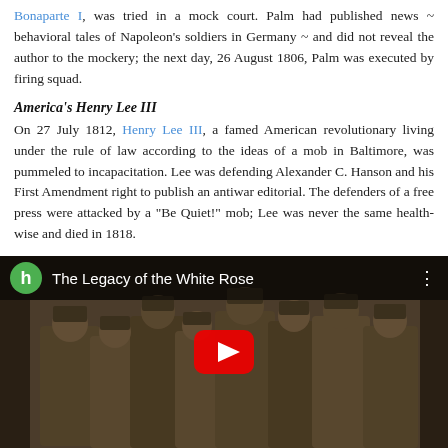Bonaparte I, was tried in a mock court. Palm had published news ~ behavioral tales of Napoleon's soldiers in Germany ~ and did not reveal the author to the mockery; the next day, 26 August 1806, Palm was executed by firing squad.
America's Henry Lee III
On 27 July 1812, Henry Lee III, a famed American revolutionary living under the rule of law according to the ideas of a mob in Baltimore, was pummeled to incapacitation. Lee was defending Alexander C. Hanson and his First Amendment right to publish an antiwar editorial. The defenders of a free press were attacked by a "Be Quiet!" mob; Lee was never the same health-wise and died in 1818.
[Figure (screenshot): YouTube video thumbnail showing 'The Legacy of the White Rose' with a sepia-toned historical photograph of soldiers/officers, featuring a YouTube play button overlay and a green 'h' channel avatar icon.]